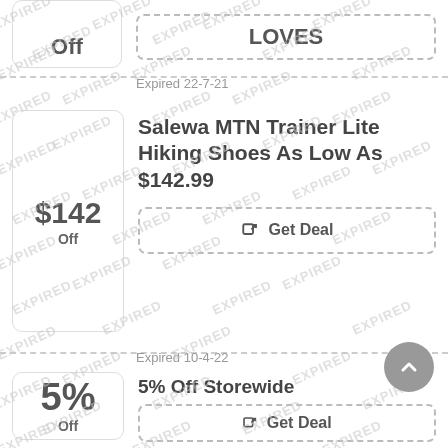Off
LOVES
Expired 22-7-21
$142 Off
Salewa MTN Trainer Lite Hiking Shoes As Low As $142.99
Get Deal
Expired 10-4-22
5% Off
5% Off Storewide
Get Deal
Expired 20-7-22